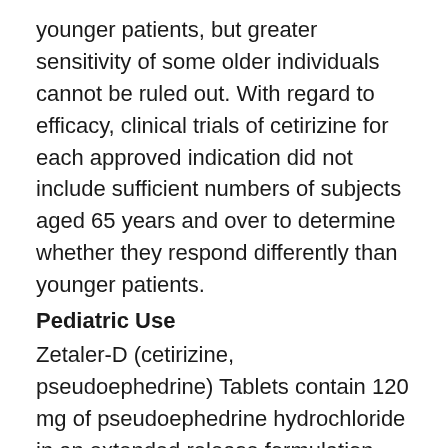younger patients, but greater sensitivity of some older individuals cannot be ruled out. With regard to efficacy, clinical trials of cetirizine for each approved indication did not include sufficient numbers of subjects aged 65 years and over to determine whether they respond differently than younger patients.
Pediatric Use
Zetaler-D (cetirizine, pseudoephedrine) Tablets contain 120 mg of pseudoephedrine hydrochloride in an extended release formulation. This dose of pseudoephedrine exceeds the recommended dose for pediatric patients under 12 years of age. Therefore, clinical trials of Zetaler-D (cetirizine, pseudoephedrine) Tablets have not been conducted in patients under 12 years of age.